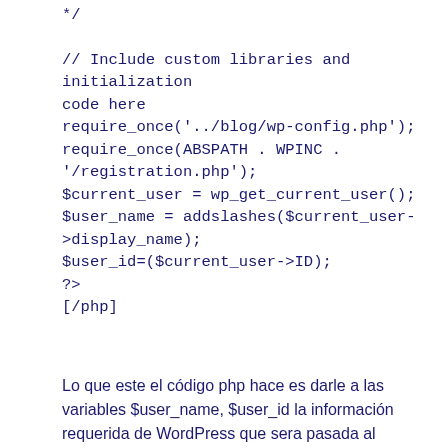*/

// Include custom libraries and initialization code here
require_once('../blog/wp-config.php');
require_once(ABSPATH . WPINC . '/registration.php');
$current_user = wp_get_current_user();
$user_name = addslashes($current_user-&gt;display_name);
$user_id=($current_user-&gt;ID);
?&gt;
[/php]
Lo que este el código php hace es darle a las variables $user_name, $user_id la información requerida de WordPress que sera pasada al